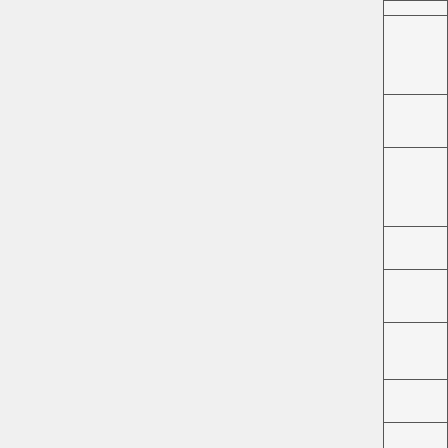|  |  |
| --- | --- |
|  |  |
|  | CollapsePoints |
|  | ColorSourceScript |
|  | CompizCheck |
|  | ConnectVertices |
|  | CylindricalWavePoints |
|  | DeformationExpression |
|  | DeleteComponents |
|  | DissolveFaces |
|  | DoubleAdd |